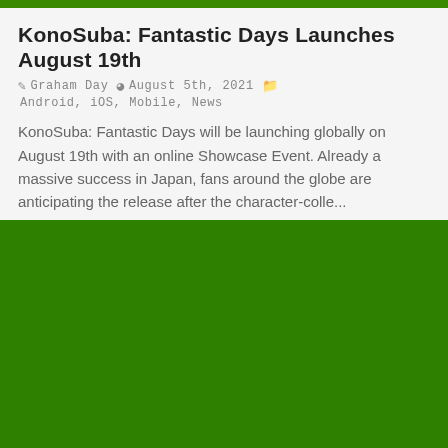KonoSuba: Fantastic Days Launches August 19th
Graham Day   August 5th, 2021   Android, iOS, Mobile, News
KonoSuba: Fantastic Days will be launching globally on August 19th with an online Showcase Event. Already a massive success in Japan, fans around the globe are anticipating the release after the character-colle...
[Figure (other): Large solid green rectangle image block]